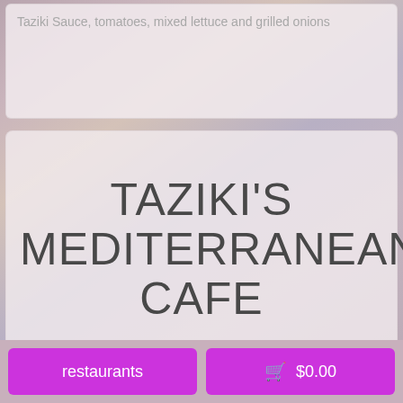Taziki Sauce, tomatoes, mixed lettuce and grilled onions
TAZIKI'S MEDITERRANEAN CAFE
Menu Revision:2/6/22
4400 FRONTAGE RD. NW CLEVELAND, TN 37312
restaurants
$0.00